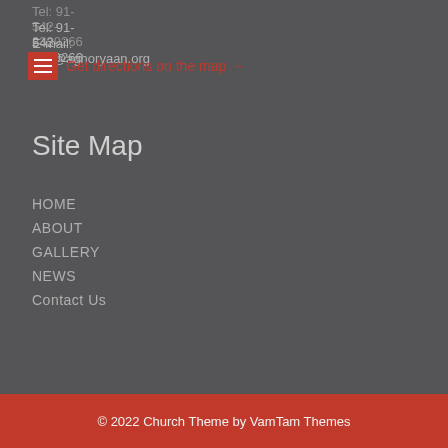Tel: 91-542-2339266
Tel: 91-542-2339266
E-mail: info@aghoryaan.org
Get directions on the map →
Site Map
HOME
ABOUT
GALLERY
NEWS
Contact Us
© 2022 Church Theme by VamTam Themes